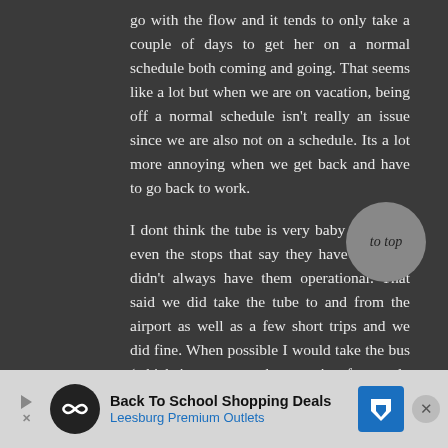go with the flow and it tends to only take a couple of days to get her on a normal schedule both coming and going. That seems like a lot but when we are on vacation, being off a normal schedule isn't really an issue since we are also not on a schedule. Its a lot more annoying when we get back and have to go back to work.
I dont think the tube is very baby friendly - even the stops that say they have elevators didn't always have them operational. That said we did take the tube to and from the airport as well as a few short trips and we did fine. When possible I would take the bus (which is pretty much an option for nearly every destination)
Have a great time!!
[Figure (other): Grey circular 'to top' button in the lower right of the main content area]
[Figure (other): Advertisement banner: Back To School Shopping Deals - Leesburg Premium Outlets]